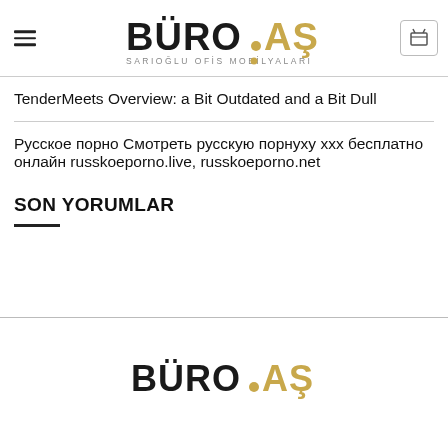[Figure (logo): BÜRO.AŞ logo with subtitle SARIOĞLU OFİS MOBİLYALARI at top of page]
TenderMeets Overview: a Bit Outdated and a Bit Dull
Русское порно Смотреть русскую порнуху xxx бесплатно онлайн russkoeporno.live, russkoeporno.net
SON YORUMLAR
[Figure (logo): BÜRO.AŞ logo at the bottom section of the page]